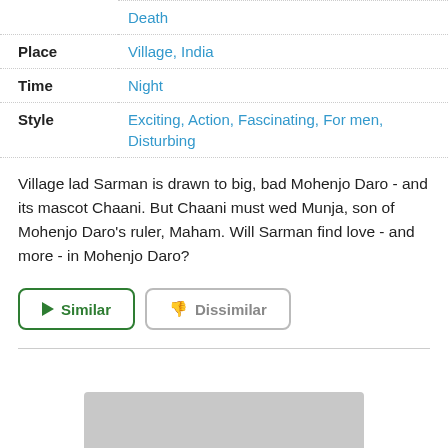|  | Death |
| Place | Village, India |
| Time | Night |
| Style | Exciting, Action, Fascinating, For men, Disturbing |
Village lad Sarman is drawn to big, bad Mohenjo Daro - and its mascot Chaani. But Chaani must wed Munja, son of Mohenjo Daro's ruler, Maham. Will Sarman find love - and more - in Mohenjo Daro?
[Figure (screenshot): Two buttons: 'Similar' (green border, green play arrow icon) and 'Dissimilar' (gray border, gray thumbs-down icon)]
[Figure (other): Gray rounded rectangle at the bottom of the page]